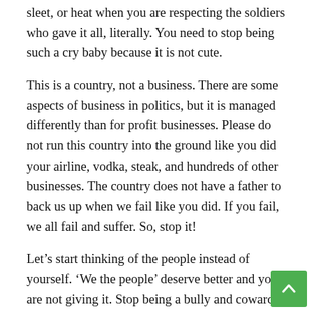sleet, or heat when you are respecting the soldiers who gave it all, literally. You need to stop being such a cry baby because it is not cute.
This is a country, not a business. There are some aspects of business in politics, but it is managed differently than for profit businesses. Please do not run this country into the ground like you did your airline, vodka, steak, and hundreds of other businesses. The country does not have a father to back us up when we fail like you did. If you fail, we all fail and suffer. So, stop it!
Let’s start thinking of the people instead of yourself. ‘We the people’ deserve better and you are not giving it. Stop being a bully and coward; let’s get some work done. We can be that country if you step up or step out. Please decide soon before it is too late.